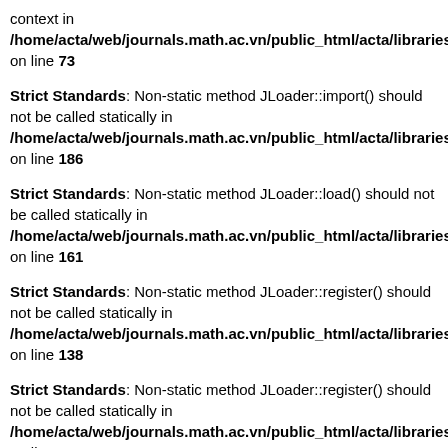context in /home/acta/web/journals.math.ac.vn/public_html/acta/libraries/j on line 73
Strict Standards: Non-static method JLoader::import() should not be called statically in /home/acta/web/journals.math.ac.vn/public_html/acta/libraries/l on line 186
Strict Standards: Non-static method JLoader::load() should not be called statically in /home/acta/web/journals.math.ac.vn/public_html/acta/libraries/l on line 161
Strict Standards: Non-static method JLoader::register() should not be called statically in /home/acta/web/journals.math.ac.vn/public_html/acta/libraries/l on line 138
Strict Standards: Non-static method JLoader::register() should not be called statically in /home/acta/web/journals.math.ac.vn/public_html/acta/libraries/j on line 19
Strict Standards: Non-static method JLoader::load() should not be called statically in